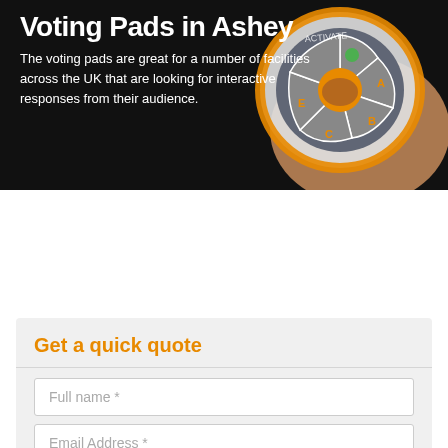[Figure (photo): Hero image showing a hand holding a voting pad/clicker device with orange and grey buttons on a dark background. White bold title text 'Voting Pads in Ashey' and subtitle text overlaid on the left side.]
The voting pads are great for a number of facilities across the UK that are looking for interactive responses from their audience.
Get a quick quote
Full name *
Email Address *